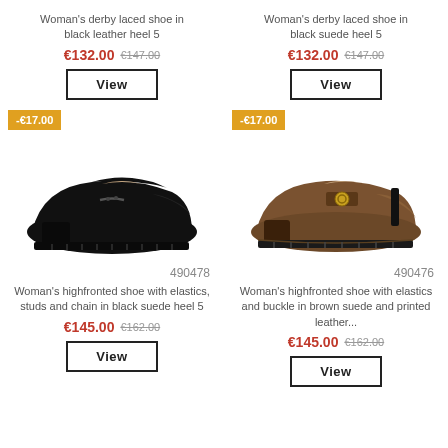Woman's derby laced shoe in black leather heel 5
€132.00  €147.00
View
Woman's derby laced shoe in black suede heel 5
€132.00  €147.00
View
-€17.00
-€17.00
[Figure (photo): Black suede highfronted loafer shoe with chain detail and block heel]
[Figure (photo): Brown suede highfronted loafer shoe with gold buckle detail and block heel]
490478
490476
Woman's highfronted shoe with elastics, studs and chain in black suede heel 5
Woman's highfronted shoe with elastics and buckle in brown suede and printed leather...
€145.00  €162.00
€145.00  €162.00
View
View